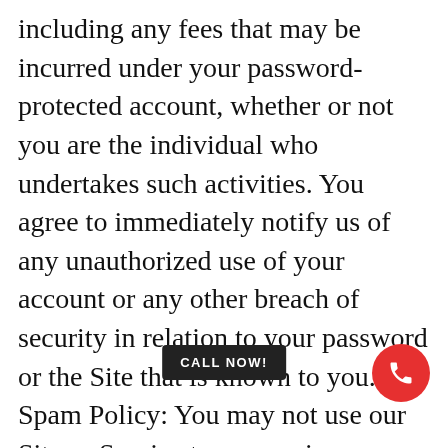including any fees that may be incurred under your password-protected account, whether or not you are the individual who undertakes such activities. You agree to immediately notify us of any unauthorized use of your account or any other breach of security in relation to your password or the Site that is known to you. Spam Policy: You may not use our Site or Service to engage in unethical marketing activities, including without limitation spamming. The following are examples of activities that are not permitted, and which may result in an immediate deactivation of your account or termination of your membership: a) disguising the origin of any content transmitted to or through our Site or Service, or using any other means of deceptive